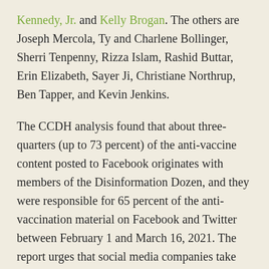Kennedy, Jr. and Kelly Brogan. The others are Joseph Mercola, Ty and Charlene Bollinger, Sherri Tenpenny, Rizza Islam, Rashid Buttar, Erin Elizabeth, Sayer Ji, Christiane Northrup, Ben Tapper, and Kevin Jenkins.
The CCDH analysis found that about three-quarters (up to 73 percent) of the anti-vaccine content posted to Facebook originates with members of the Disinformation Dozen, and they were responsible for 65 percent of the anti-vaccination material on Facebook and Twitter between February 1 and March 16, 2021. The report urges that social media companies take action:
Social media companies must